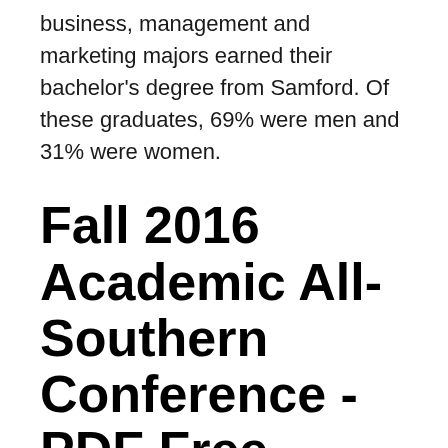business, management and marketing majors earned their bachelor's degree from Samford. Of these graduates, 69% were men and 31% were women.
Fall 2016 Academic All-Southern Conference - PDF Free
As a Christian university, the community fosters academic, career and ethical competency while encouraging social and civic responsibility, and service to others. Samford Business, Management & Marketing Bachelor's Program During the 2018-